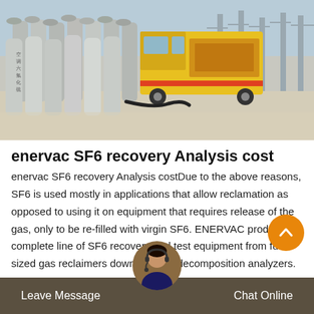[Figure (photo): Rows of SF6 gas cylinders in foreground, yellow service truck in background center-left, and high-voltage electrical towers on the right, all on a concrete industrial site.]
enervac SF6 recovery Analysis cost
enervac SF6 recovery Analysis costDue to the above reasons, SF6 is used mostly in applications that allow reclamation as opposed to using it on equipment that requires release of the gas, only to be re-filled with virgin SF6. ENERVAC produces a complete line of SF6 recovery and test equipment from full sized gas reclaimers down to small decomposition analyzers.
Leave Message   Chat Online